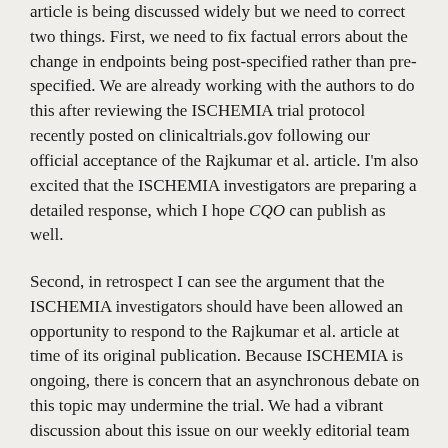article is being discussed widely but we need to correct two things. First, we need to fix factual errors about the change in endpoints being post-specified rather than pre-specified. We are already working with the authors to do this after reviewing the ISCHEMIA trial protocol recently posted on clinicaltrials.gov following our official acceptance of the Rajkumar et al. article. I'm also excited that the ISCHEMIA investigators are preparing a detailed response, which I hope CQO can publish as well.
Second, in retrospect I can see the argument that the ISCHEMIA investigators should have been allowed an opportunity to respond to the Rajkumar et al. article at time of its original publication. Because ISCHEMIA is ongoing, there is concern that an asynchronous debate on this topic may undermine the trial. We had a vibrant discussion about this issue on our weekly editorial team call, and overall feelings across our editors were mixed. Ultimately, I take responsibility for these decisions but it was never my intent to be harmful to the conduct of the trial. I'm hopeful that allowing the ISCHEMIA investigators to respond in a sequential manner will not detract from this debate but only enrich it. Science takes the long-view.